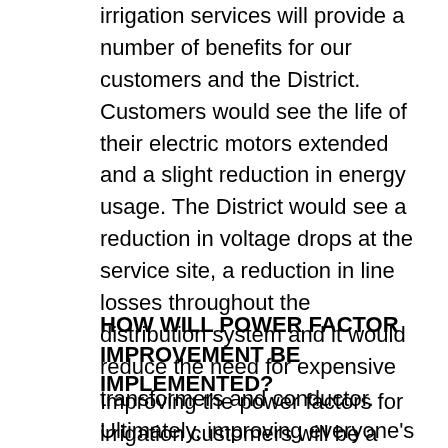irrigation services will provide a number of benefits for our customers and the District. Customers would see the life of their electric motors extended and a slight reduction in energy usage. The District would see a reduction in voltage drops at the service site, a reduction in line losses throughout the distribution system and it would reduce the need for expensive transformers and conductor. Ultimately, improving everyone's power factor will have a positive effect on both rates and service as we improve the efficiency of our distribution system.
HOW WILL POWER FACTOR IMPROVEMENT BE IMPLEMENTED?
Improving the power factors for irrigation customers will be a two-season process. In 2021 we will educate our customers on the power